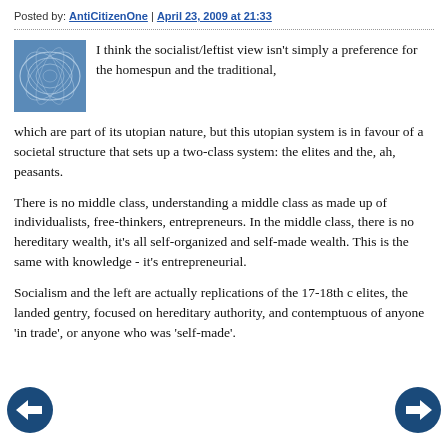Posted by: AntiCitizenOne | April 23, 2009 at 21:33
I think the socialist/leftist view isn't simply a preference for the homespun and the traditional, which are part of its utopian nature, but this utopian system is in favour of a societal structure that sets up a two-class system: the elites and the, ah, peasants.
There is no middle class, understanding a middle class as made up of individualists, free-thinkers, entrepreneurs. In the middle class, there is no hereditary wealth, it's all self-organized and self-made wealth. This is the same with knowledge - it's entrepreneurial.
Socialism and the left are actually replications of the 17-18th c elites, the landed gentry, focused on hereditary authority, and contemptuous of anyone 'in trade', or anyone who was 'self-made'.